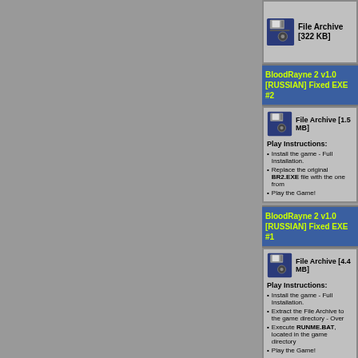[Figure (other): File archive icon with floppy disk, labeled File Archive [322 KB]]
BloodRayne 2 v1.0 [RUSSIAN] Fixed EXE #2
[Figure (other): File archive icon with floppy disk, labeled File Archive [1.5 MB]]
Play Instructions:
Install the game - Full Installation.
Replace the original BR2.EXE file with the one from
Play the Game!
BloodRayne 2 v1.0 [RUSSIAN] Fixed EXE #1
[Figure (other): File archive icon with floppy disk, labeled File Archive [4.4 MB]]
Play Instructions:
Install the game - Full Installation.
Extract the File Archive to the game directory - Over
Execute RUNME.BAT, located in the game directory
Play the Game!
BloodRayne 2 ALL ACCESS CHEAT #2